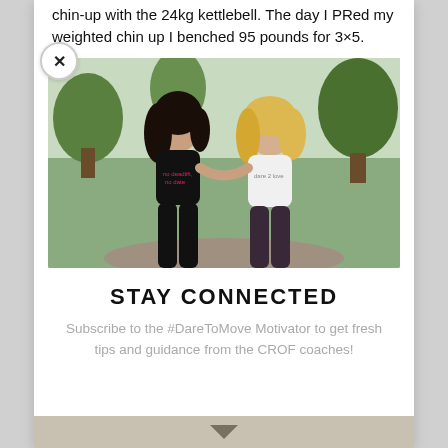chin-up with the 24kg kettlebell. The day I PRed my weighted chin up I benched 95 pounds for 3×5.
[Figure (photo): Two women in athletic crop tops standing outdoors in a park setting, smiling at the camera.]
STAY CONNECTED
Subscribe to the #DareToMove Motivator to get fresh tips and guidance from the CROF coaches!